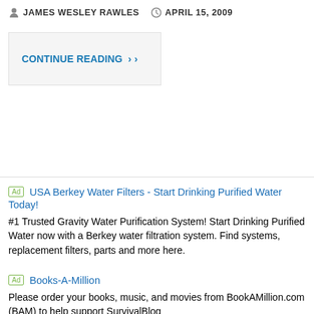JAMES WESLEY RAWLES  APRIL 15, 2009
CONTINUE READING ›
Ad  USA Berkey Water Filters - Start Drinking Purified Water Today!
#1 Trusted Gravity Water Purification System! Start Drinking Purified Water now with a Berkey water filtration system. Find systems, replacement filters, parts and more here.
Ad  Books-A-Million
Please order your books, music, and movies from BookAMillion.com (BAM) to help support SurvivalBlog
Letter Re: The Importance of Spare Parts and Maintenance for